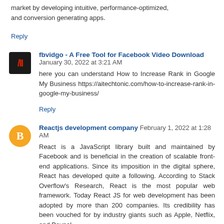market by developing intuitive, performance-optimized, and conversion generating apps.
Reply
fbvidgo - A Free Tool for Facebook Video Download  January 30, 2022 at 3:21 AM
here you can understand How to Increase Rank in Google My Business https://aitechtonic.com/how-to-increase-rank-in-google-my-business/
Reply
Reactjs development company  February 1, 2022 at 1:28 AM
React is a JavaScript library built and maintained by Facebook and is beneficial in the creation of scalable front-end applications. Since its imposition in the digital sphere, React has developed quite a following. According to Stack Overflow's Research, React is the most popular web framework. Today React JS for web development has been adopted by more than 200 companies. Its credibility has been vouched for by industry giants such as Apple, Netflix, and Paypal. react web development
video interview platform